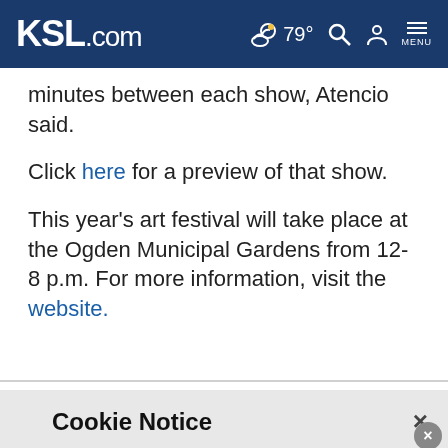KSL.com 79° MENU
minutes between each show, Atencio said.
Click here for a preview of that show.
This year’s art festival will take place at the Ogden Municipal Gardens from 12-8 p.m. For more information, visit the website.
Cookie Notice
We use cookies to improve your experience, analyze site traffic, and to personalize content and ads. By continuing to use our site, you consent to our use of cookies. Please visit our Terms of Use and Privacy Policy for more information